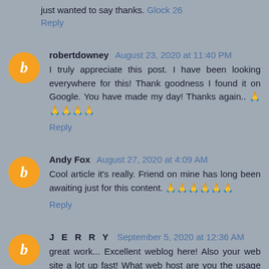just wanted to say thanks. Glock 26
Reply
robertdowney August 23, 2020 at 11:40 PM
I truly appreciate this post. I have been looking everywhere for this! Thank goodness I found it on Google. You have made my day! Thanks again.. 🙏🙏🙏🙏🙏
Reply
Andy Fox August 27, 2020 at 4:09 AM
Cool article it's really. Friend on mine has long been awaiting just for this content. 🙏🙏🙏🙏🙏🙏
Reply
J E R R Y September 5, 2020 at 12:36 AM
great work... Excellent weblog here! Also your web site a lot up fast! What web host are you the usage of? Can I get